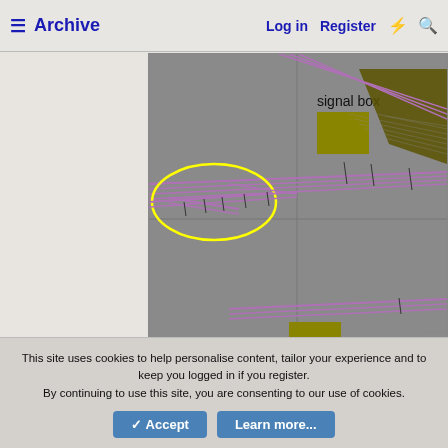Archive  Log in  Register
[Figure (screenshot): Model railway layout editor screenshot showing tracks with 'signal box' and 'loco shed' labels, a yellow ellipse highlighting a junction area, and a 'road' label at the bottom. Grey and purple track lines on grey background.]
[Figure (screenshot): Context menu screenshot showing options: T delete to the control, C copy to the control, Y wipe to the control, W wipe, R rebuild, S modify and rebuild, U create unsaved copy, G group select [toggle], N group tag or colour. And a light blue grid background on the right.]
This site uses cookies to help personalise content, tailor your experience and to keep you logged in if you register.
By continuing to use this site, you are consenting to our use of cookies.
✓ Accept   Learn more...